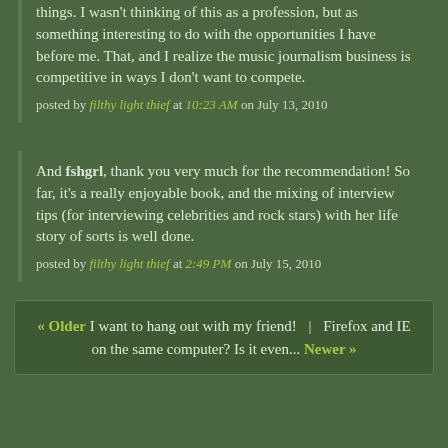things. I wasn't thinking of this as a profession, but as something interesting to do with the opportunities I have before me. That, and I realize the music journalism business is competitive in ways I don't want to compete.
posted by filthy light thief at 10:23 AM on July 13, 2010
And fshgrl, thank you very much for the recommendation! So far, it's a really enjoyable book, and the mixing of interview tips (for interviewing celebrities and rock stars) with her life story of sorts is well done.
posted by filthy light thief at 2:49 PM on July 15, 2010
« Older I want to hang out with my friend!   |   Firefox and IE on the same computer? Is it even... Newer »